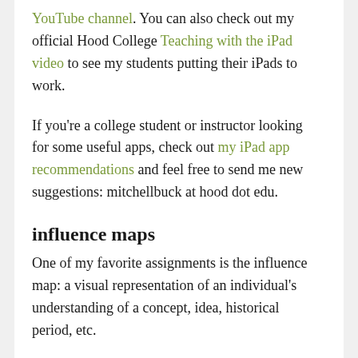YouTube channel. You can also check out my official Hood College Teaching with the iPad video to see my students putting their iPads to work.
If you're a college student or instructor looking for some useful apps, check out my iPad app recommendations and feel free to send me new suggestions: mitchellbuck at hood dot edu.
influence maps
One of my favorite assignments is the influence map: a visual representation of an individual's understanding of a concept, idea, historical period, etc.